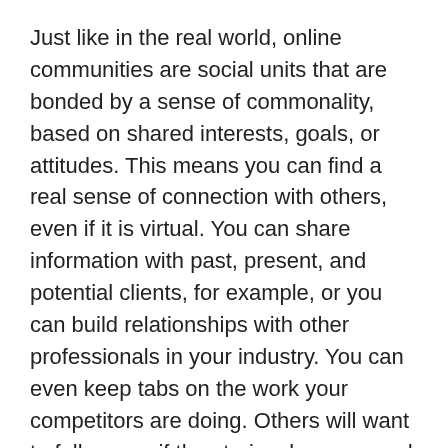Just like in the real world, online communities are social units that are bonded by a sense of commonality, based on shared interests, goals, or attitudes. This means you can find a real sense of connection with others, even if it is virtual. You can share information with past, present, and potential clients, for example, or you can build relationships with other professionals in your industry. You can even keep tabs on the work your competitors are doing. Others will want to follow you if the stories, lessons, and ideas you share can apply to their own lives.
But it is important to engage with your followers, so that they want to continue to interact with you: engagement produces engagement, after all. Instead of just continuously posting your own content, you need to listen and to interact with the content that others create—to